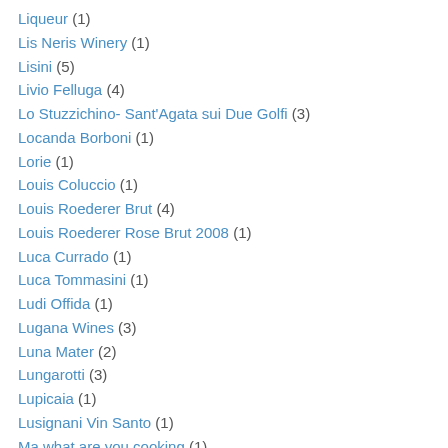Liqueur (1)
Lis Neris Winery (1)
Lisini (5)
Livio Felluga (4)
Lo Stuzzichino- Sant'Agata sui Due Golfi (3)
Locanda Borboni (1)
Lorie (1)
Louis Coluccio (1)
Louis Roederer Brut (4)
Louis Roederer Rose Brut 2008 (1)
Luca Currado (1)
Luca Tommasini (1)
Ludi Offida (1)
Lugana Wines (3)
Luna Mater (2)
Lungarotti (3)
Lupicaia (1)
Lusignani Vin Santo (1)
Ma,what are you cooking (1)
Maculan (1)